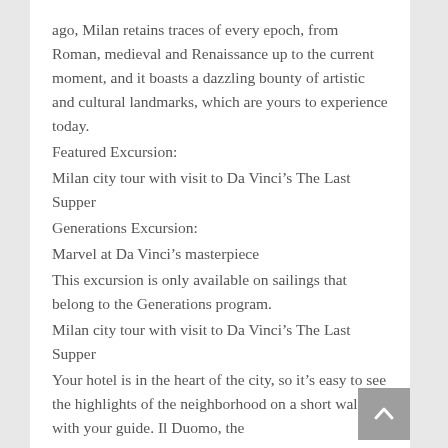ago, Milan retains traces of every epoch, from Roman, medieval and Renaissance up to the current moment, and it boasts a dazzling bounty of artistic and cultural landmarks, which are yours to experience today.
Featured Excursion:
Milan city tour with visit to Da Vinci's The Last Supper
Generations Excursion:
Marvel at Da Vinci's masterpiece
This excursion is only available on sailings that belong to the Generations program.
Milan city tour with visit to Da Vinci's The Last Supper
Your hotel is in the heart of the city, so it's easy to see the highlights of the neighborhood on a short walk with your guide. Il Duomo, the